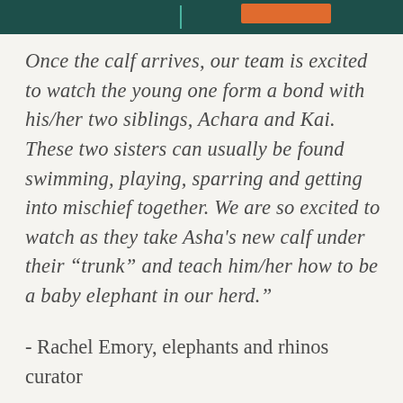[Figure (other): Dark teal header bar with orange accent block and teal vertical line]
Once the calf arrives, our team is excited to watch the young one form a bond with his/her two siblings, Achara and Kai. These two sisters can usually be found swimming, playing, sparring and getting into mischief together. We are so excited to watch as they take Asha's new calf under their “trunk” and teach him/her how to be a baby elephant in our herd.”
- Rachel Emory, elephants and rhinos curator